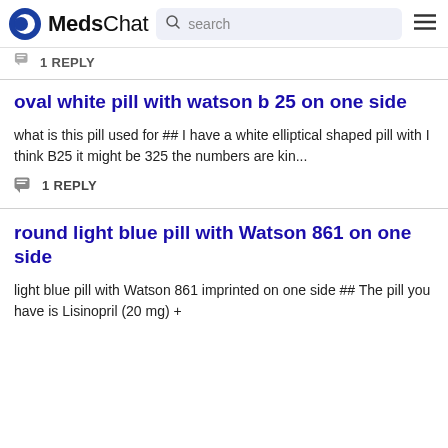MedsChat
1 REPLY (partial, clipped at top)
oval white pill with watson b 25 on one side
what is this pill used for ## I have a white elliptical shaped pill with I think B25 it might be 325 the numbers are kin...
1 REPLY
round light blue pill with Watson 861 on one side
light blue pill with Watson 861 imprinted on one side ## The pill you have is Lisinopril (20 mg) +